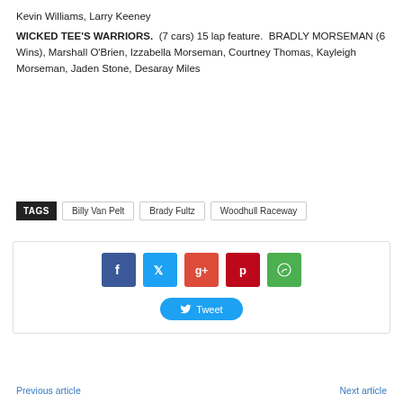Kevin Williams, Larry Keeney
WICKED TEE'S WARRIORS. (7 cars) 15 lap feature. BRADLY MORSEMAN (6 Wins), Marshall O'Brien, Izzabella Morseman, Courtney Thomas, Kayleigh Morseman, Jaden Stone, Desaray Miles
TAGS: Billy Van Pelt | Brady Fultz | Woodhull Raceway
[Figure (infographic): Social sharing buttons: Facebook, Twitter, Google+, Pinterest, WhatsApp, and a Tweet button]
Previous article | Next article